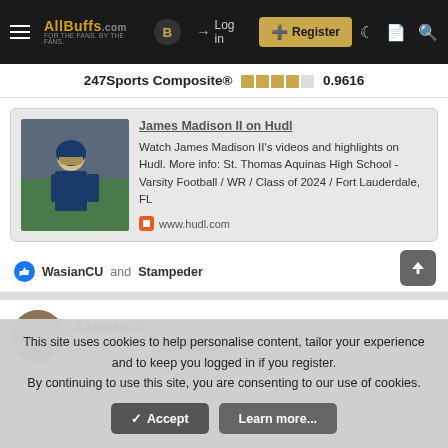AllBuffs.com navigation bar with Log in, Register, and icons
247Sports Composite® 0.9616
[Figure (screenshot): Hudl card for James Madison II showing player photo thumbnail, link title, description, and hudl.com URL]
WasianCU and Stampeder
AztecBuff Club Member Club Member
This site uses cookies to help personalise content, tailor your experience and to keep you logged in if you register.
By continuing to use this site, you are consenting to our use of cookies.